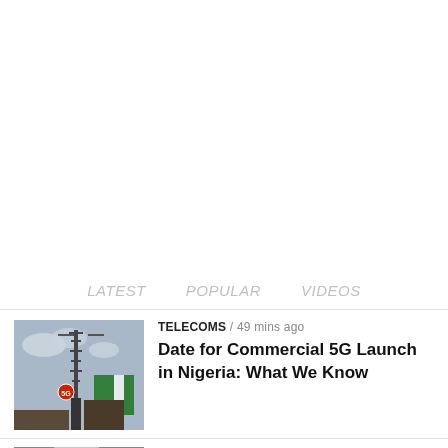LATEST   POPULAR   VIDEOS
[Figure (photo): Thumbnail photo of a cell tower / 5G tower with Nigerian flag and blue sky background]
TELECOMS / 49 mins ago
Date for Commercial 5G Launch in Nigeria: What We Know
[Figure (photo): Thumbnail photo partially visible at bottom of page]